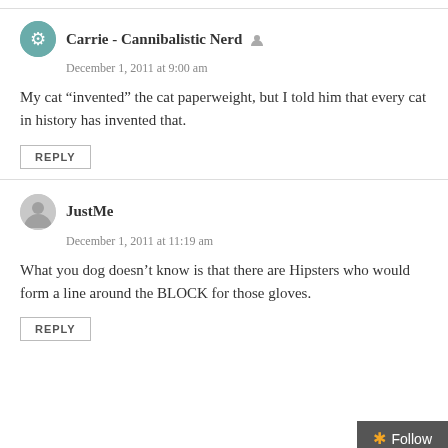Carrie - Cannibalistic Nerd
December 1, 2011 at 9:00 am
My cat “invented” the cat paperweight, but I told him that every cat in history has invented that.
REPLY
JustMe
December 1, 2011 at 11:19 am
What you dog doesn’t know is that there are Hipsters who would form a line around the BLOCK for those gloves.
REPLY
Follow